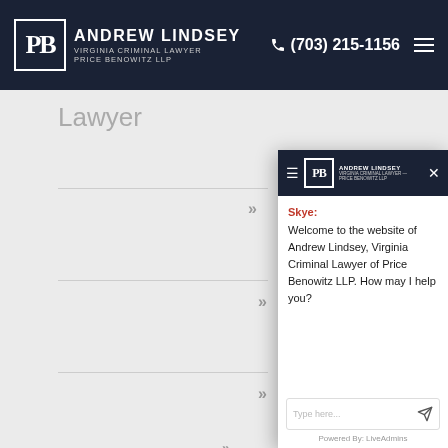Andrew Lindsey Virginia Criminal Lawyer Price Benowitz LLP | (703) 215-1156
Lawyer
[Figure (screenshot): Chat widget overlay from Andrew Lindsey Price Benowitz LLP website showing a chatbot named Skye welcoming the user]
Skye:
Welcome to the website of Andrew Lindsey, Virginia Criminal Lawyer of Price Benowitz LLP. How may I help you?
Type here...
Powered By: LiveAdmins